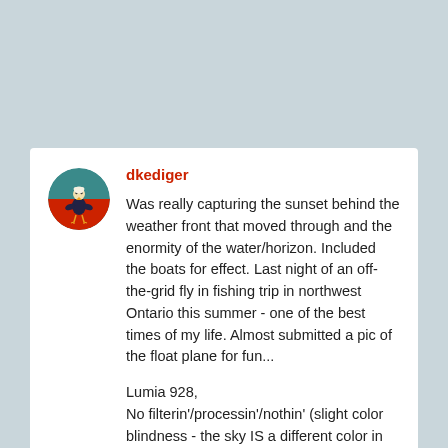[Figure (illustration): Circular avatar image showing an illustrated figure of a person/bird on a teal and red background]
dkediger
Was really capturing the sunset behind the weather front that moved through and the enormity of the water/horizon. Included the boats for effect. Last night of an off-the-grid fly in fishing trip in northwest Ontario this summer - one of the best times of my life. Almost submitted a pic of the float plane for fun...
Lumia 928,
No filterin'/processin'/nothin' (slight color blindness - the sky IS a different color in my world (not really, but trying to make manual adjustments would...